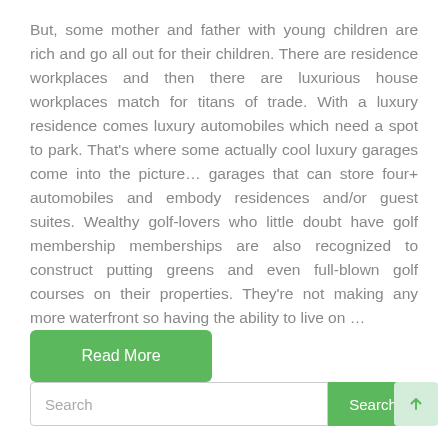But, some mother and father with young children are rich and go all out for their children. There are residence workplaces and then there are luxurious house workplaces match for titans of trade. With a luxury residence comes luxury automobiles which need a spot to park. That's where some actually cool luxury garages come into the picture... garages that can store four+ automobiles and embody residences and/or guest suites. Wealthy golf-lovers who little doubt have golf membership memberships are also recognized to construct putting greens and even full-blown golf courses on their properties. They're not making any more waterfront so having the ability to live on …
Read More
Search
Search